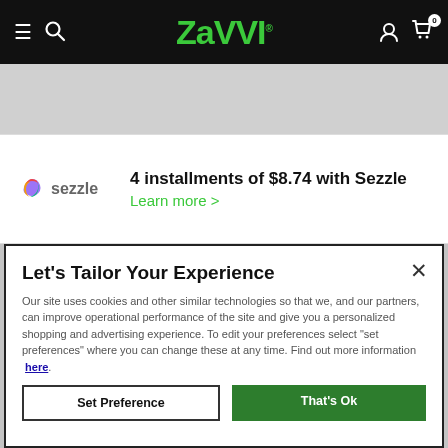Zavvi — navigation bar with hamburger menu, search, logo, user icon, cart (0)
[Figure (logo): Sezzle logo with colorful swirl icon and 'sezzle' wordmark in grey]
4 installments of $8.74 with Sezzle
Learn more >
Let's Tailor Your Experience
Our site uses cookies and other similar technologies so that we, and our partners, can improve operational performance of the site and give you a personalized shopping and advertising experience. To edit your preferences select "set preferences" where you can change these at any time. Find out more information here.
Set Preference
That's Ok